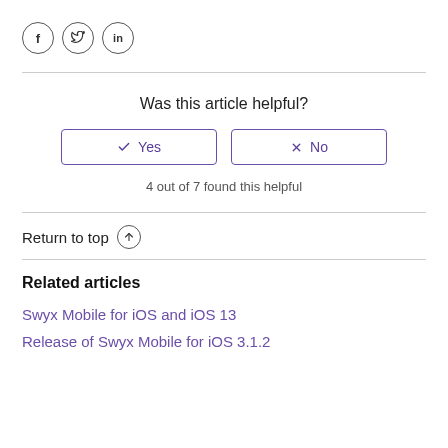[Figure (other): Social share icons: Facebook (f), Twitter (bird), LinkedIn (in) — each in a circle]
Was this article helpful?
✓ Yes  ✗ No (buttons)
4 out of 7 found this helpful
Return to top ↑
Related articles
Swyx Mobile for iOS and iOS 13
Release of Swyx Mobile for iOS 3.1.2